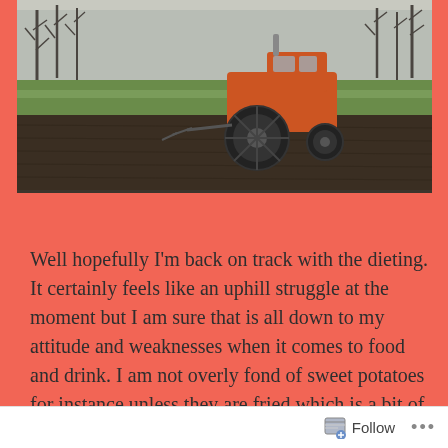[Figure (photo): A tractor working on a large plowed field with a green strip of grass in the background and bare trees on the horizon. The soil is dark brown and freshly tilled.]
Well hopefully I'm back on track with the dieting. It certainly feels like an uphill struggle at the moment but I am sure that is all down to my attitude and weaknesses when it comes to food and drink. I am not overly fond of sweet potatoes for instance unless they are fried which is a bit of a drawback and so many recipes include these rather tasteless
Follow ...